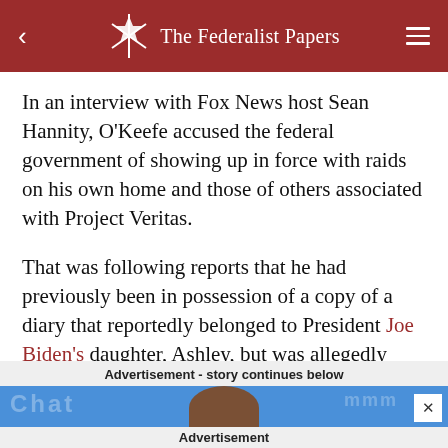The Federalist Papers
In an interview with Fox News host Sean Hannity, O'Keefe accused the federal government of showing up in force with raids on his own home and those of others associated with Project Veritas.
That was following reports that he had previously been in possession of a copy of a diary that reportedly belonged to President Joe Biden's daughter, Ashley, but was allegedly stolen.
Advertisement - story continues below
[Figure (photo): Advertisement banner showing partial view of a person's head against a blue background with blurred text]
Advertisement